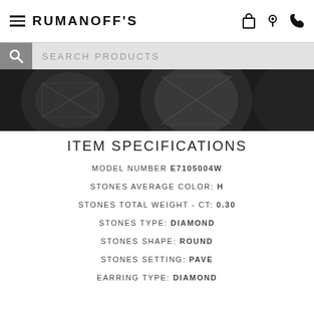RUMANOFF'S
SEARCH PRODUCTS
[Figure (photo): Close-up grayscale image of diamond gems/stones, dark background]
ITEM SPECIFICATIONS
MODEL NUMBER E7105004W
STONES AVERAGE COLOR: H
STONES TOTAL WEIGHT - CT: 0.30
STONES TYPE: DIAMOND
STONES SHAPE: ROUND
STONES SETTING: PAVE
EARRING TYPE: DIAMOND